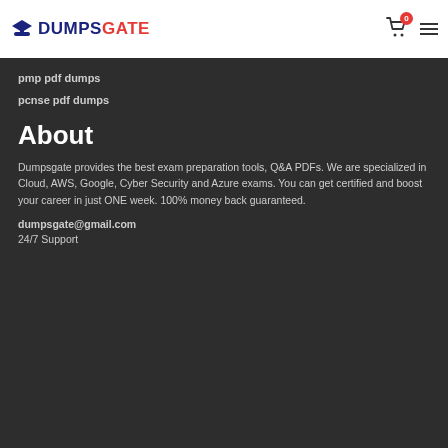DUMPSGATE - logo with cart icon and hamburger menu
pmp pdf dumps
pcnse pdf dumps
About
Dumpsgate provides the best exam preparation tools, Q&A PDFs. We are specialized in Cloud, AWS, Google, Cyber Security and Azure exams. You can get certified and boost your career in just ONE week. 100% money back guaranteed.
dumpsgate@gmail.com
24/7 Support